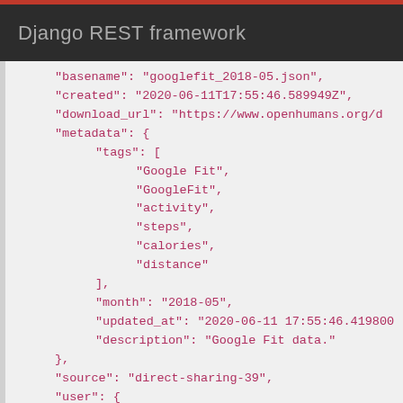Django REST framework
"basename": "googlefit_2018-05.json",
"created": "2020-06-11T17:55:46.589949Z",
"download_url": "https://www.openhumans.org/d
"metadata": {
    "tags": [
        "Google Fit",
        "GoogleFit",
        "activity",
        "steps",
        "calories",
        "distance"
    ],
    "month": "2018-05",
    "updated_at": "2020-06-11 17:55:46.419800
    "description": "Google Fit data."
},
"source": "direct-sharing-39",
"user": {
    "id": "58937234",
    "name": "BenC",
    "username": "benc"
}
},